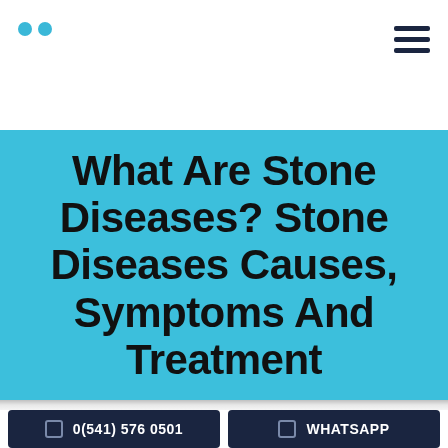What Are Stone Diseases? Stone Diseases Causes, Symptoms And Treatment
0(541) 576 0501
WHATSAPP